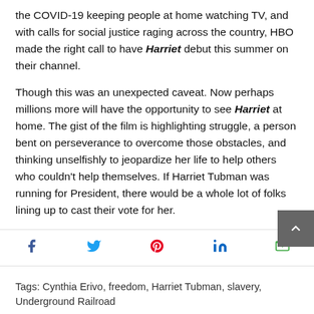the COVID-19 keeping people at home watching TV, and with calls for social justice raging across the country, HBO made the right call to have Harriet debut this summer on their channel.
Though this was an unexpected caveat. Now perhaps millions more will have the opportunity to see Harriet at home. The gist of the film is highlighting struggle, a person bent on perseverance to overcome those obstacles, and thinking unselfishly to jeopardize her life to help others who couldn't help themselves. If Harriet Tubman was running for President, there would be a whole lot of folks lining up to cast their vote for her.
Harriet (Focus Features) affords us this chance to witness her greatness.
[Figure (infographic): Social sharing bar with icons for Facebook, Twitter, Pinterest, LinkedIn, and Email]
Tags: Cynthia Erivo, freedom, Harriet Tubman, slavery, Underground Railroad